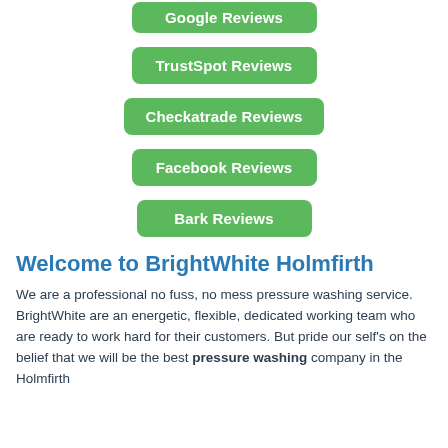Google Reviews
TrustSpot Reviews
Checkatrade Reviews
Facebook Reviews
Bark Reviews
Welcome to BrightWhite Holmfirth
We are a professional no fuss, no mess pressure washing service. BrightWhite are an energetic, flexible, dedicated working team who are ready to work hard for their customers. But pride our self's on the belief that we will be the best pressure washing company in the Holmfirth